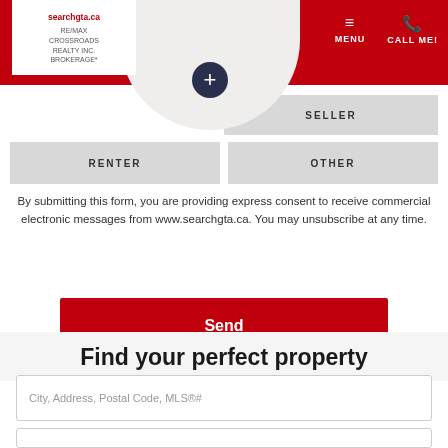searchgta.ca RE/MAX CROSSROADS REALTY INC. BROKERAGE* | MENU | CALL ME!
SELLER
RENTER
OTHER
By submitting this form, you are providing express consent to receive commercial electronic messages from www.searchgta.ca. You may unsubscribe at any time.
Send
Disclaimer
Find your perfect property
City, Address, Postal Code, MLS®#